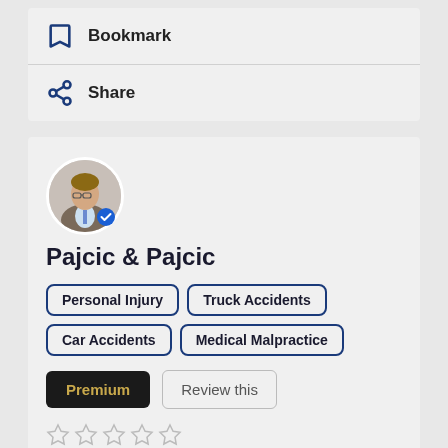Bookmark
Share
[Figure (photo): Circular profile photo of a man in a suit with a blue verified badge overlay]
Pajcic & Pajcic
Personal Injury
Truck Accidents
Car Accidents
Medical Malpractice
Premium
Review this
About